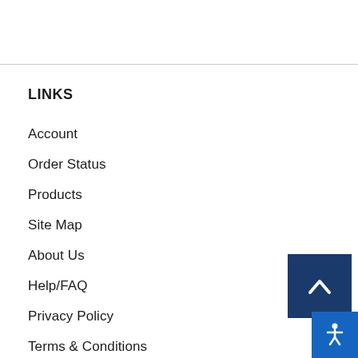LINKS
Account
Order Status
Products
Site Map
About Us
Help/FAQ
Privacy Policy
Terms & Conditions
[Figure (illustration): Back to top button — dark navy blue square with white upward chevron arrow]
[Figure (illustration): Accessibility button — blue square with white wheelchair/person icon]